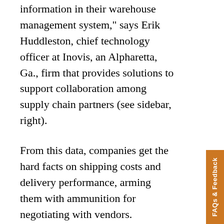information in their warehouse management system," says Erik Huddleston, chief technology officer at Inovis, an Alpharetta, Ga., firm that provides solutions to support collaboration among supply chain partners (see sidebar, right).
From this data, companies get the hard facts on shipping costs and delivery performance, arming them with ammunition for negotiating with vendors.
Keeping Vendors on Their Toes
Such data also helps shippers decide which under-performing vendors they should pressure to improve, and which ones aren't worth the trouble because they don't affect the overall operation.
“Organizations are cutting back significantly on vendor management staffing,” Huddleston says. Judicious use of vendor data then lets shippers decide which